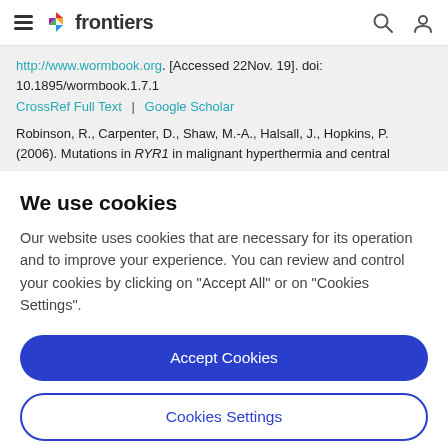frontiers
http://www.wormbook.org. [Accessed 22Nov. 19]. doi: 10.1895/wormbook.1.7.1
CrossRef Full Text | Google Scholar
Robinson, R., Carpenter, D., Shaw, M.-A., Halsall, J., Hopkins, P. (2006). Mutations in RYR1 in malignant hyperthermia and central
We use cookies
Our website uses cookies that are necessary for its operation and to improve your experience. You can review and control your cookies by clicking on "Accept All" or on "Cookies Settings".
Accept Cookies
Cookies Settings